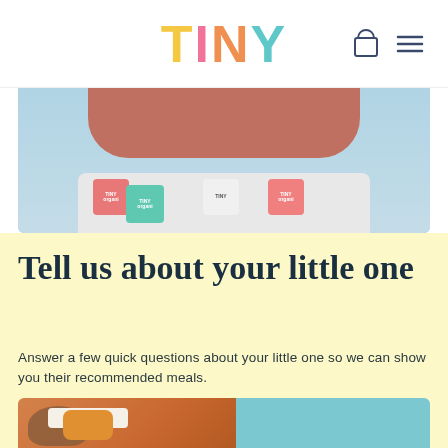TINY
[Figure (photo): Baby sitting in highchair with multiple Tiny Organics product cups on white tray, wearing pink sweater, light blue background]
Tell us about your little one
Answer a few quick questions about your little one so we can show you their recommended meals.
[Figure (photo): Close-up of baby hands with food on white surface, orange food item visible, teal bib on right side]